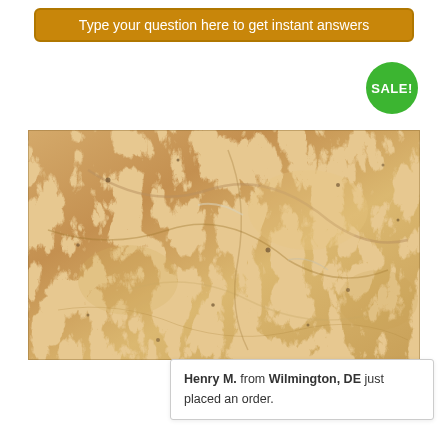Type your question here to get instant answers
[Figure (other): Green circular badge with white bold text reading SALE!]
[Figure (photo): A travertine stone tile sample with warm golden-beige and tan tones, natural pitting and veining, photographed on white background. Rectangular shape approximately 2:1 aspect ratio.]
Henry M. from Wilmington, DE just placed an order.